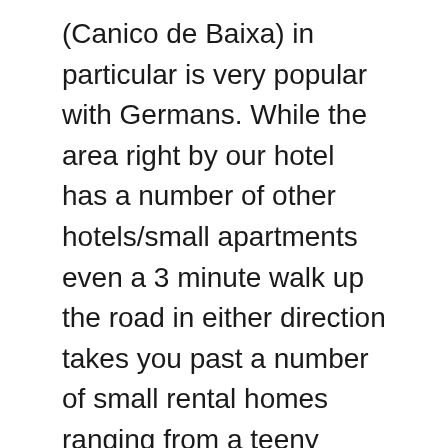(Canico de Baixa) in particular is very popular with Germans. While the area right by our hotel has a number of other hotels/small apartments even a 3 minute walk up the road in either direction takes you past a number of small rental homes ranging from a teeny walkup to larger multi bedroom homes with gorgeous gardens and balconies overlooking the sea cliffs. Unfortunately my german wasn't really up to checking all the details but I may look them up once home out of curiousity.
After a couple hours of going up and down hills/steps/cobblestones we realized we hadn't had lunch and decided to try the Taverna we'd seen on the way into the hotel zone. It was pleasant but kind of hilarious in that multiple times we were left alone for ages on the patio. It was pretty much the only place on